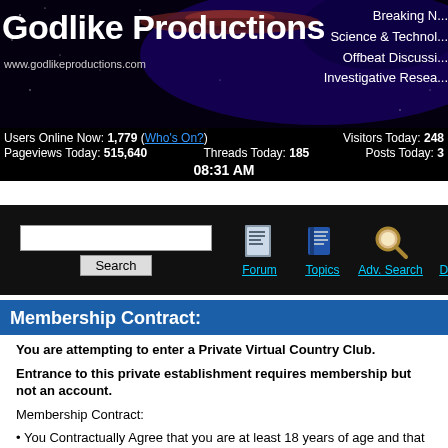[Figure (screenshot): Godlike Productions website header banner with UFO image, dark space background with purple nebula, site title and navigation links]
Breaking N... Science & Technol... Offbeat Discussi... Investigative Resea...
Users Online Now: 1,779 (Who's On?) Visitors Today: 248... Pageviews Today: 515,640 Threads Today: 185 Posts Today: 3... 08:31 AM
[Figure (screenshot): Search bar with text input, Search button, and navigation icons for Forum, Topics, Adv. Search, Directory]
Membership Contract:
You are attempting to enter a Private Virtual Country Club.

Entrance to this private establishment requires membership but not an account.

Membership Contract:

• You Contractually Agree that you are at least 18 years of age and that you are accessing this website for personal use only.
• You Contractually Agree that you wish to join as a member to this private establishment and that any communication taking place here is considered private communication between members which you agree not to publicly disclose or disseminate.
• You are responsible for all activity that occurs under your IP Address when using this website including any posts made...